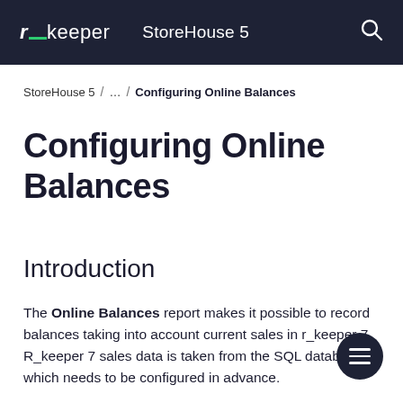r_keeper  StoreHouse 5
StoreHouse 5  /  ...  /  Configuring Online Balances
Configuring Online Balances
Introduction
The Online Balances report makes it possible to record balances taking into account current sales in r_keeper 7. R_keeper 7 sales data is taken from the SQL database which needs to be configured in advance.